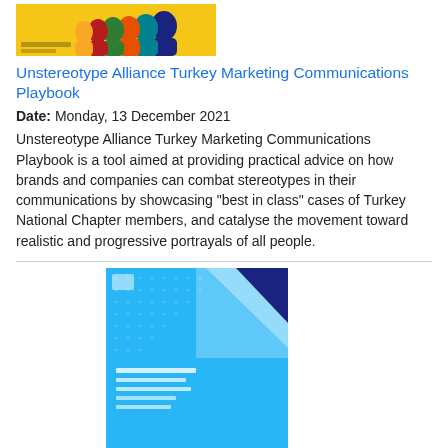[Figure (illustration): Thumbnail cover image of Unstereotype Alliance Turkey Marketing Communications Playbook with colorful human silhouette profiles on yellow background]
Unstereotype Alliance Turkey Marketing Communications Playbook
Date: Monday, 13 December 2021
Unstereotype Alliance Turkey Marketing Communications Playbook is a tool aimed at providing practical advice on how brands and companies can combat stereotypes in their communications by showcasing "best in class" cases of Turkey National Chapter members, and catalyse the movement toward realistic and progressive portrayals of all people.
[Figure (illustration): Thumbnail cover image of 2021 Public Perceptions of Gender Equality and Violence Against Women report with blue grid/dot background and white diagonal design]
2021 Public Perceptions of Gender Equality and Violence Against Women
Date: Wednesday, 1 December 2021
This report captures Kosovar citizens' knowledge of the gender